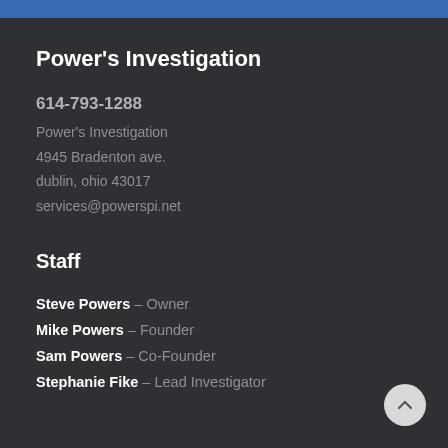Power's Investigation
614-793-1288
Power's Investigation
4945 Bradenton ave.
dublin, ohio 43017
services@powerspi.net
Staff
Steve Powers – Owner
Mike Powers – Founder
Sam Powers – Co-Founder
Stephanie Fike – Lead Investigator